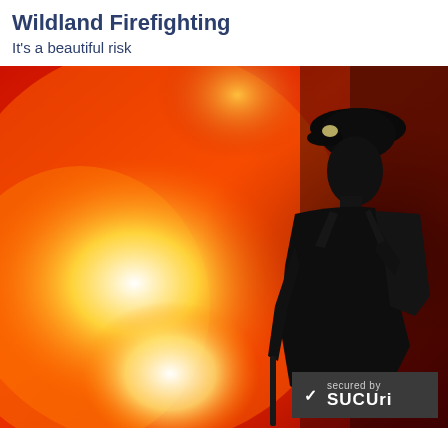Wildland Firefighting
It's a beautiful risk
[Figure (photo): Silhouette of a wildland firefighter wearing a helmet with headlamp and carrying equipment, standing against a dramatic orange and red fire background with bright white hotspots]
secured by Sucuri